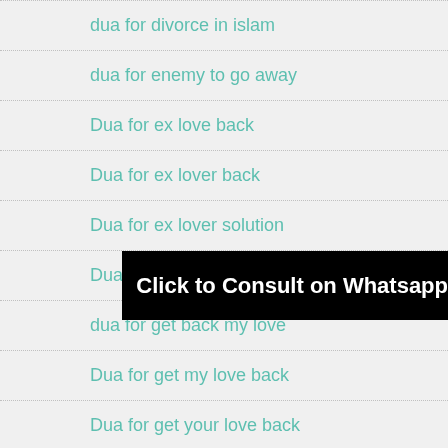dua for divorce in islam
dua for enemy to go away
Dua for ex love back
Dua for ex lover back
Dua for ex lover solution
Dua For Family Happines
dua for get back my love
Dua for get my love back
Dua for get your love back
Dua for Getting Good Husband or Wife in Quran